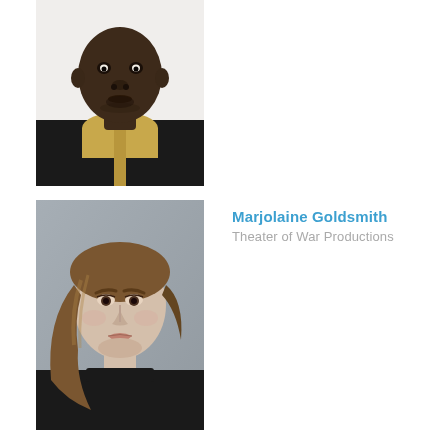[Figure (photo): Headshot of a young man wearing a black and gold traditional African top, looking directly at the camera against a white background.]
[Figure (photo): Headshot of Marjolaine Goldsmith, a young woman with long wavy brown hair wearing a black top, photographed against a grey background.]
Marjolaine Goldsmith
Theater of War Productions